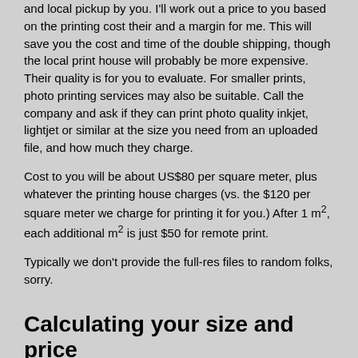and local pickup by you. I'll work out a price to you based on the printing cost their and a margin for me. This will save you the cost and time of the double shipping, though the local print house will probably be more expensive. Their quality is for you to evaluate. For smaller prints, photo printing services may also be suitable. Call the company and ask if they can print photo quality inkjet, lightjet or similar at the size you need from an uploaded file, and how much they charge.
Cost to you will be about US$80 per square meter, plus whatever the printing house charges (vs. the $120 per square meter we charge for printing it for you.) After 1 m², each additional m² is just $50 for remote print.
Typically we don't provide the full-res files to random folks, sorry.
Calculating your size and price
Use the calculator above in the units you want.